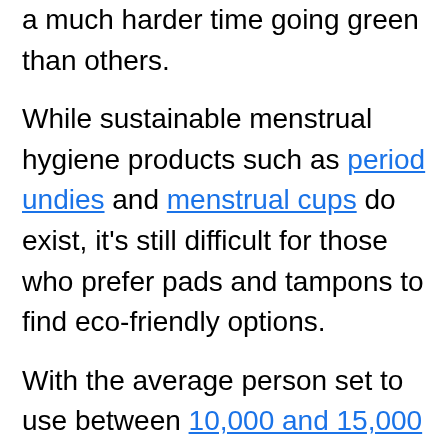recent years, it seems that some products are having a much harder time going green than others.
While sustainable menstrual hygiene products such as period undies and menstrual cups do exist, it's still difficult for those who prefer pads and tampons to find eco-friendly options.
With the average person set to use between 10,000 and 15,000 pads and tampons over the years they menstruate, New Zealand-born brand Me. is now offering a much-needed alternative to plastic-wrapped period products.
What makes Me. period care green?
Recently launched into the Australian market, Me.'s